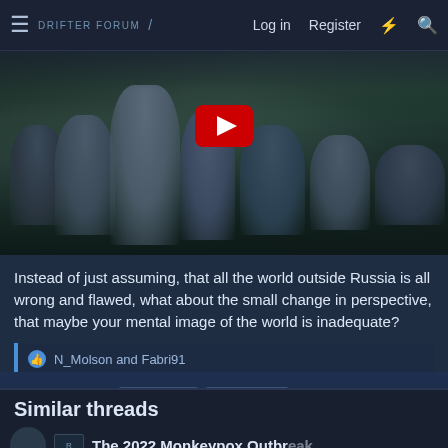≡ DRIFTER FORUM | Log in  Register
[Figure (photo): A crowd of people seated at what appears to be an awards ceremony or event, low-quality video screenshot with YouTube play button overlay]
Instead of just assuming, that all the world outside Russia is all wrong and flawed, what about the small change in perspective, that maybe your mental image of the world is inadequate?
👍 N_Molson and Fabri91
1 of 4   Next ▶   ▶▶
You must log in or register to reply here.
Similar threads
The 2022 Monkeypox Outbreak